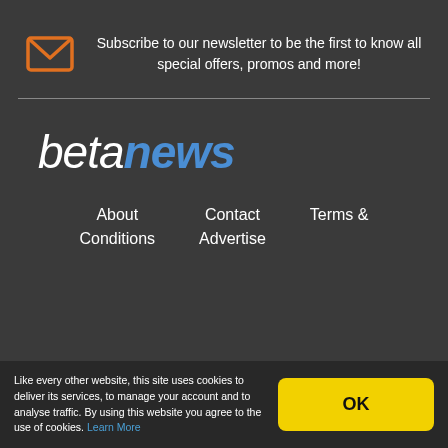Subscribe to our newsletter to be the first to know all special offers, promos and more!
[Figure (logo): betanews logo — italic white 'beta' and bold blue italic 'news']
About
Conditions
Contact
Advertise
Terms &
Like every other website, this site uses cookies to deliver its services, to manage your account and to analyse traffic. By using this website you agree to the use of cookies. Learn More
OK